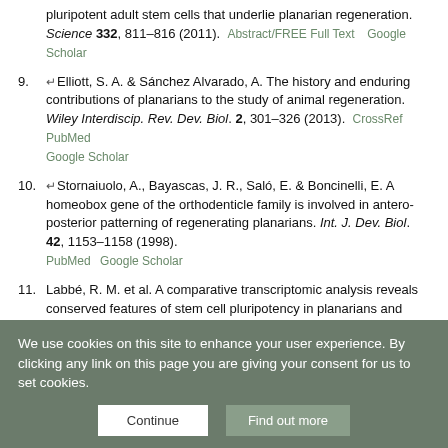Wagner, D. E., Wang, I. E. & Reddien, P. W. Clonogenic neoblasts are pluripotent adult stem cells that underlie planarian regeneration. Science 332, 811–816 (2011). Abstract/FREE Full Text Google Scholar
9. Elliott, S. A. & Sánchez Alvarado, A. The history and enduring contributions of planarians to the study of animal regeneration. Wiley Interdiscip. Rev. Dev. Biol. 2, 301–326 (2013). CrossRef PubMed Google Scholar
10. Stornaiuolo, A., Bayascas, J. R., Saló, E. & Boncinelli, E. A homeobox gene of the orthodenticle family is involved in antero-posterior patterning of regenerating planarians. Int. J. Dev. Biol. 42, 1153–1158 (1998). PubMed Google Scholar
11. Labbé, R. M. et al. A comparative transcriptomic analysis reveals conserved features of stem cell pluripotency in planarians and mammals. Stem Cells 30, 1734–1745 (2012). CrossRef PubMed Google Scholar
We use cookies on this site to enhance your user experience. By clicking any link on this page you are giving your consent for us to set cookies.